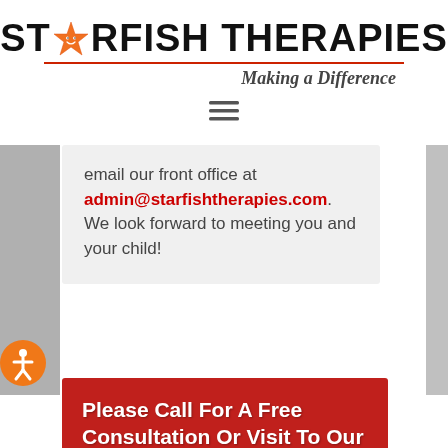[Figure (logo): Starfish Therapies logo with star icon, bold black text, red underline, and italic tagline 'Making a Difference']
[Figure (other): Hamburger menu icon (three horizontal lines)]
email our front office at admin@starfishtherapies.com. We look forward to meeting you and your child!
Please Call For A Free Consultation Or Visit To Our Clinic »